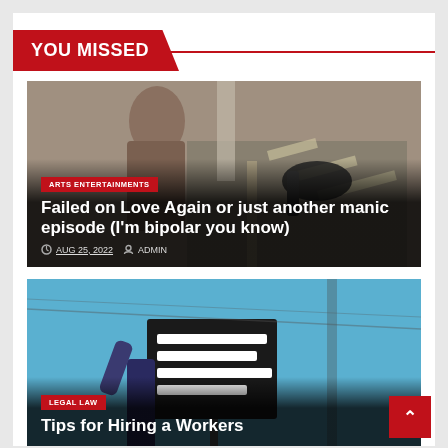YOU MISSED
[Figure (photo): Woman with bicycle on road, street scene]
ARTS ENTERTAINMENTS
Failed on Love Again or just another manic episode (I'm bipolar you know)
AUG 25, 2022  ADMIN
[Figure (photo): Person holding a protest sign reading I WANT TO BE HEARD outdoors with blue sky]
LEGAL LAW
Tips for Hiring a Workers